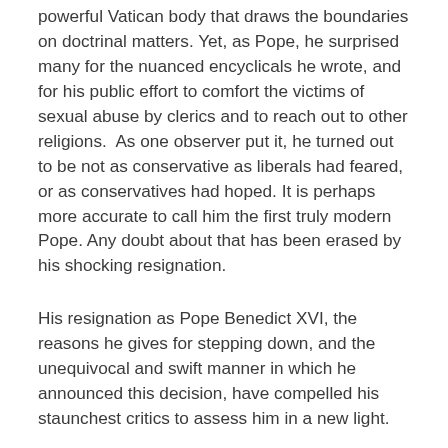powerful Vatican body that draws the boundaries on doctrinal matters. Yet, as Pope, he surprised many for the nuanced encyclicals he wrote, and for his public effort to comfort the victims of sexual abuse by clerics and to reach out to other religions.  As one observer put it, he turned out to be not as conservative as liberals had feared, or as conservatives had hoped. It is perhaps more accurate to call him the first truly modern Pope. Any doubt about that has been erased by his shocking resignation.
His resignation as Pope Benedict XVI, the reasons he gives for stepping down, and the unequivocal and swift manner in which he announced this decision, have compelled his staunchest critics to assess him in a new light.